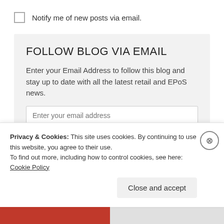Notify me of new posts via email.
FOLLOW BLOG VIA EMAIL
Enter your Email Address to follow this blog and stay up to date with all the latest retail and EPoS news.
Enter your email address
Subscribe
Privacy & Cookies: This site uses cookies. By continuing to use this website, you agree to their use.
To find out more, including how to control cookies, see here: Cookie Policy
Close and accept